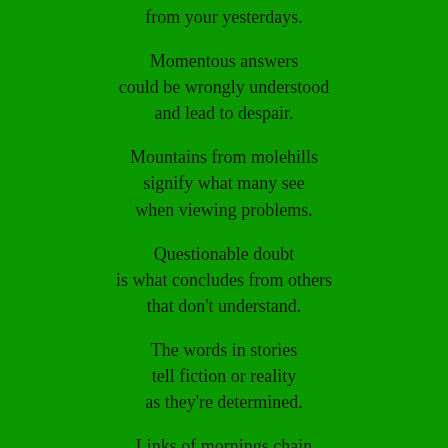from your yesterdays.
Momentous answers
could be wrongly understood
and lead to despair.
Mountains from molehills
signify what many see
when viewing problems.
Questionable doubt
is what concludes from others
that don't understand.
The words in stories
tell fiction or reality
as they're determined.
Links of mornings chain
are connected to evening,
yet we can't see them.
Today might find rain,
but tomorrow find sunshine